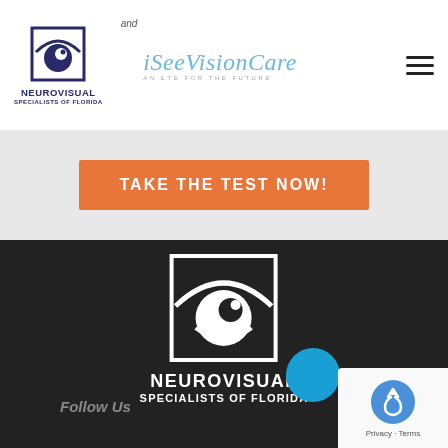[Figure (logo): Neurovisual Specialists of Florida logo — eye icon in square with text below]
and
[Figure (logo): iSee VisionCare logo — cursive blue text with tagline AN EYE FOR THE FUTURE]
[Figure (illustration): Hamburger menu icon (three horizontal lines)]
TAKE THE TEST NOW!
[Figure (logo): Neurovisual Specialists of Florida white logo on dark background — large eye icon in square with NEUROVISUAL SPECIALISTS OF FLORIDA text]
Follow Us